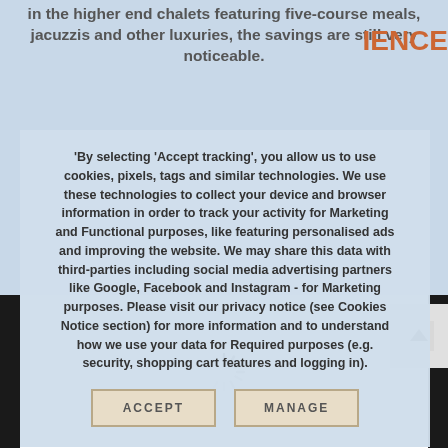in the higher end chalets featuring five-course meals, jacuzzis and other luxuries, the savings are still very noticeable.
By selecting 'Accept tracking', you allow us to use cookies, pixels, tags and similar technologies. We use these technologies to collect your device and browser information in order to track your activity for Marketing and Functional purposes, like featuring personalised ads and improving the website. We may share this data with third-parties including social media advertising partners like Google, Facebook and Instagram - for Marketing purposes. Please visit our privacy notice (see Cookies Notice section) for more information and to understand how we use your data for Required purposes (e.g. security, shopping cart features and logging in).
ACCEPT
MANAGE